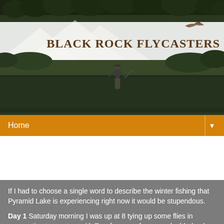[Figure (photo): Website header photo showing mountain landscape with trees, a river scene with a person wading/fly fishing, and the Black Rock Flycasters logo/site title]
BLACK ROCK FLYCASTERS
Home ▼
Monday, February 7, 2011
Pyramid Lake - Fish Porn
If I had to choose a single word to describe the winter fishing that Pyramid Lake is experiencing right now it would be stupendous.
Day 1 Saturday morning I was up at 8 tying up some flies in preperation to meet up with Tom for some for some double-haul practice out at Pyramid. By the time I had the truck loaded Tom had already been fishing for an hour or so near Shotdog and Seperator with no luck. We decided to meet at